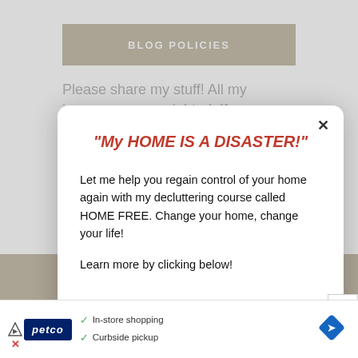BLOG POLICIES
Please share my stuff! All my images are copyrighted. If you would like to
"My HOME IS A DISASTER!"
Let me help you regain control of your home again with my decluttering course called HOME FREE. Change your home, change your life!

Learn more by clicking below!
TAKE ME TO HOME FREE!
[Figure (screenshot): Petco advertisement bar with logo, checkmarks for in-store shopping and curbside pickup, and a navigation diamond icon]